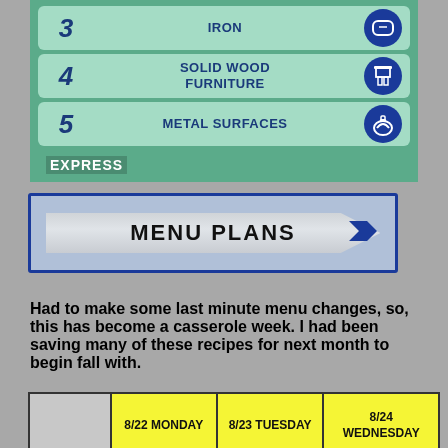[Figure (infographic): Numbered list infographic with items 3-Iron, 4-Solid Wood Furniture, 5-Metal Surfaces, each with a circular icon on a green background. EXPRESS label at bottom left.]
[Figure (infographic): Menu Plans banner with arrow pointing right, blue border, gray diagonal ribbon design with text MENU PLANS]
Had to make some last minute menu changes, so, this has become a casserole week. I had been saving many of these recipes for next month to begin fall with.
|  | 8/22 MONDAY | 8/23 TUESDAY | 8/24 WEDNESDAY |
| --- | --- | --- | --- |
|  |  |  |  |